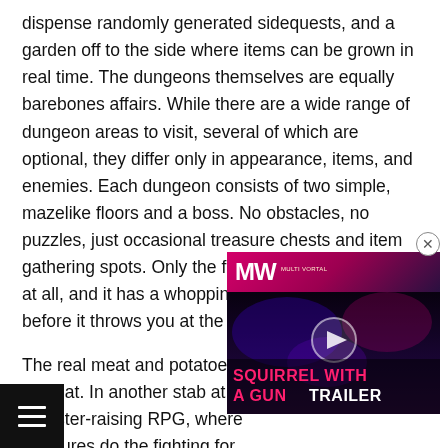dispense randomly generated sidequests, and a garden off to the side where items can be grown in real time. The dungeons themselves are equally barebones affairs. While there are a wide range of dungeon areas to visit, several of which are optional, they differ only in appearance, items, and enemies. Each dungeon consists of two simple, mazelike floors and a boss. No obstacles, no puzzles, just occasional treasure chests and item gathering spots. Only the final dungeon mixes it up at all, and it has a whopping three mazelike floors before it throws you at the final boss.
The real meat and potatoes combat. In another stab at k monster-raising RPG, where creatures do the fighting for affiliated with one of the ga different Plushkins do have different builds, falling into like "magical attacker" and "tank," the game shies from giving its creatures dramatic statistical
[Figure (screenshot): Video advertisement overlay for 'Squirrel With A Gun Trailer' from MW (Multi Vortal) website, showing a dark gaming scene with pink/magenta branding and a play button]